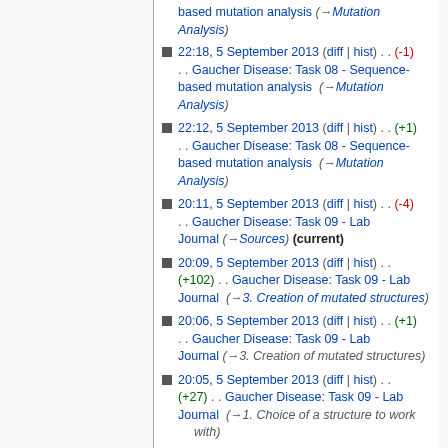22:18, 5 September 2013 (diff | hist) . . (-1) . . Gaucher Disease: Task 08 - Sequence-based mutation analysis (→Mutation Analysis)
22:12, 5 September 2013 (diff | hist) . . (+1) . . Gaucher Disease: Task 08 - Sequence-based mutation analysis (→Mutation Analysis)
20:11, 5 September 2013 (diff | hist) . . (-4) . . Gaucher Disease: Task 09 - Lab Journal (→Sources) (current)
20:09, 5 September 2013 (diff | hist) . . (+102) . . Gaucher Disease: Task 09 - Lab Journal (→3. Creation of mutated structures)
20:06, 5 September 2013 (diff | hist) . . (+1) . . Gaucher Disease: Task 09 - Lab Journal (→3. Creation of mutated structures)
20:05, 5 September 2013 (diff | hist) . . (+27) . . Gaucher Disease: Task 09 - Lab Journal (→1. Choice of a structure to work with)